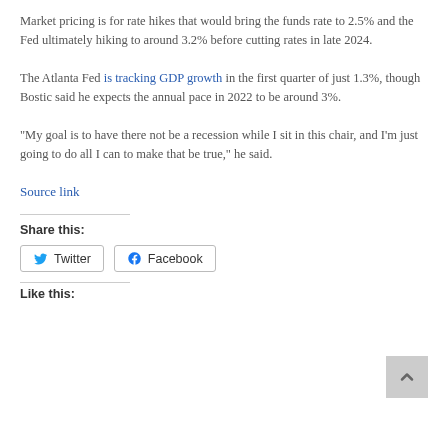Market pricing is for rate hikes that would bring the funds rate to 2.5% and the Fed ultimately hiking to around 3.2% before cutting rates in late 2024.
The Atlanta Fed is tracking GDP growth in the first quarter of just 1.3%, though Bostic said he expects the annual pace in 2022 to be around 3%.
“My goal is to have there not be a recession while I sit in this chair, and I’m just going to do all I can to make that be true,” he said.
Source link
Share this:
Twitter
Facebook